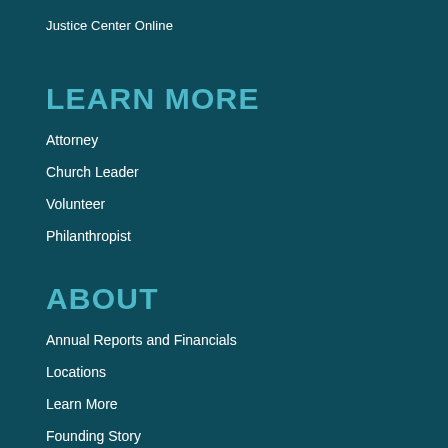Justice Center Online
LEARN MORE
Attorney
Church Leader
Volunteer
Philanthropist
ABOUT
Annual Reports and Financials
Locations
Learn More
Founding Story